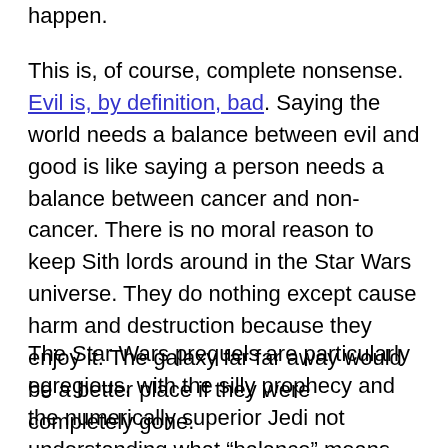happen.
This is, of course, complete nonsense. Evil is, by definition, bad. Saying the world needs a balance between evil and good is like saying a person needs a balance between cancer and non-cancer. There is no moral reason to keep Sith lords around in the Star Wars universe. They do nothing except cause harm and destruction because they enjoy it. The galaxy far far away would be a better place if they were completely gone.
The Star Wars prequels are particularly egregious, with the silly prophecy and the numerically superior Jedi not understanding what “balance” means, but Lucas is hardly the only author to make this